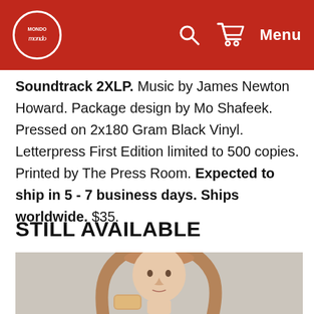Mondo — Menu
Soundtrack 2XLP. Music by James Newton Howard. Package design by Mo Shafeek. Pressed on 2x180 Gram Black Vinyl. Letterpress First Edition limited to 500 copies. Printed by The Press Room. Expected to ship in 5 - 7 business days. Ships worldwide. $35.
STILL AVAILABLE
[Figure (photo): Young woman with long reddish-brown hair, holding something, against a light grey background]